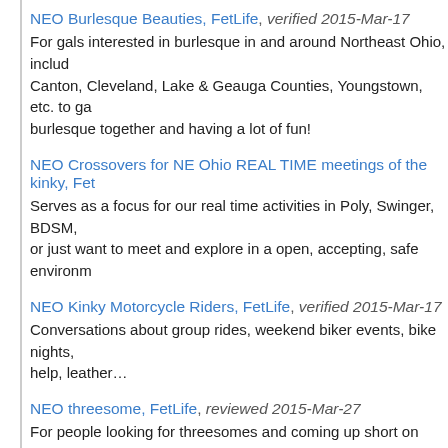NEO Burlesque Beauties, FetLife, verified 2015-Mar-17
For gals interested in burlesque in and around Northeast Ohio, includ Canton, Cleveland, Lake & Geauga Counties, Youngstown, etc. to ga burlesque together and having a lot of fun!
NEO Crossovers for NE Ohio REAL TIME meetings of the kinky, Fet Serves as a focus for our real time activities in Poly, Swinger, BDSM, or just want to meet and explore in a open, accepting, safe environm
NEO Kinky Motorcycle Riders, FetLife, verified 2015-Mar-17
Conversations about group rides, weekend biker events, bike nights, help, leather…
NEO threesome, FetLife, reviewed 2015-Mar-27
For people looking for threesomes and coming up short on finding th
NLA (National Leather Association) Columbus Ohio, verified 2015-Ma
NLA-Columbus OH, FetLife, verified 2015-Mar-17
National Leather Association of Columbus, Yahoo, verified 2015-Mar
Pansexual organization dedicated to education and understanding ot
BDSM/Leather group, all interests welcome, Bisexual, Gay, Heterose